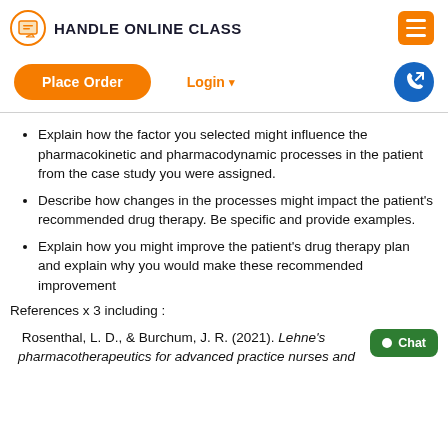HANDLE ONLINE CLASS
Explain how the factor you selected might influence the pharmacokinetic and pharmacodynamic processes in the patient from the case study you were assigned.
Describe how changes in the processes might impact the patient's recommended drug therapy. Be specific and provide examples.
Explain how you might improve the patient's drug therapy plan and explain why you would make these recommended improvement
References x 3 including :
Rosenthal, L. D., & Burchum, J. R. (2021). Lehne's pharmacotherapeutics for advanced practice nurses and